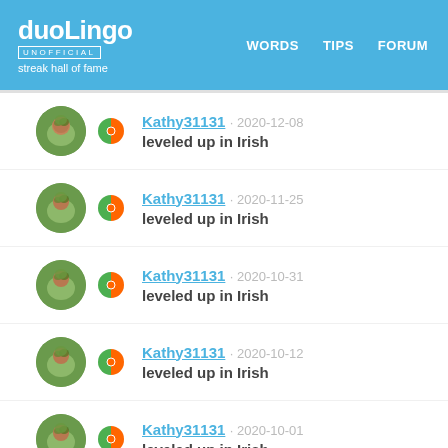duoLingo UNOFFICIAL streak hall of fame | WORDS | TIPS | FORUM
Kathy31131 · 2020-12-08 leveled up in Irish
Kathy31131 · 2020-11-25 leveled up in Irish
Kathy31131 · 2020-10-31 leveled up in Irish
Kathy31131 · 2020-10-12 leveled up in Irish
Kathy31131 · 2020-10-01 leveled up in Irish